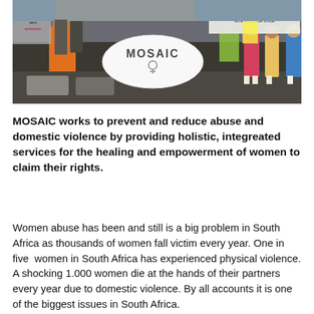[Figure (photo): Protest scene with people holding signs including 'NO MORE', 'VARN', 'MURDERED', and a white oval MOSAIC sign. People standing on a street, some in orange clothing.]
MOSAIC works to prevent and reduce abuse and domestic violence by providing holistic, integreated services for the healing and empowerment of women to claim their rights.
Women abuse has been and still is a big problem in South Africa as thousands of women fall victim every year. One in five women in South Africa has experienced physical violence. A shocking 1.000 women die at the hands of their partners every year due to domestic violence. By all accounts it is one of the biggest issues in South Africa.